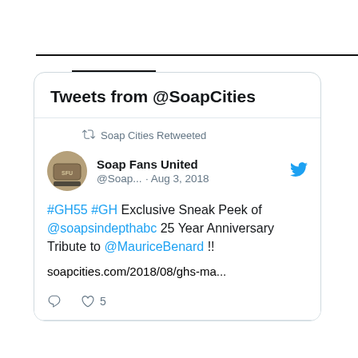Soap Cities on Twitter
Tweets from @SoapCities
Soap Cities Retweeted
Soap Fans United @Soap... · Aug 3, 2018
#GH55 #GH Exclusive Sneak Peek of @soapsindepthabc 25 Year Anniversary Tribute to @MauriceBenard !!
soapcities.com/2018/08/ghs-ma...